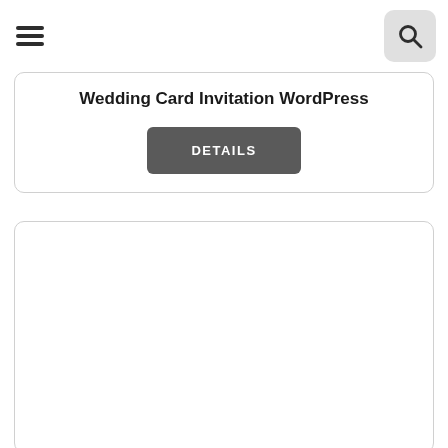Wedding Card Invitation WordPress
DETAILS
[Figure (other): Empty white card placeholder with rounded border]